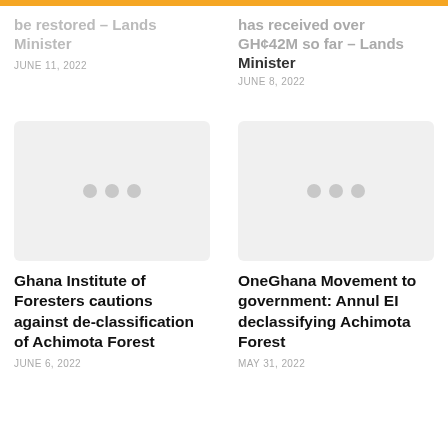be restored – Lands Minister
JUNE 11, 2022
has received over GH¢42M so far – Lands Minister
JUNE 8, 2022
[Figure (photo): Image placeholder for Ghana Institute of Foresters article]
Ghana Institute of Foresters cautions against de-classification of Achimota Forest
JUNE 6, 2022
[Figure (photo): Image placeholder for OneGhana Movement article]
OneGhana Movement to government: Annul EI declassifying Achimota Forest
MAY 31, 2022